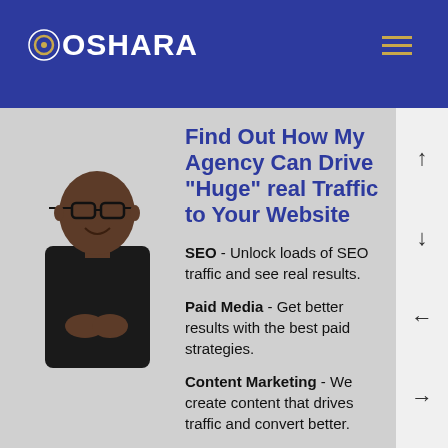[Figure (logo): OSHARA logo with circular icon on dark blue header background]
[Figure (photo): A smiling bald Black man wearing a black sweater, standing against a light background]
Find Out How My Agency Can Drive "Huge" real Traffic to Your Website
SEO - Unlock loads of SEO traffic and see real results.
Paid Media - Get better results with the best paid strategies.
Content Marketing - We create content that drives traffic and convert better.